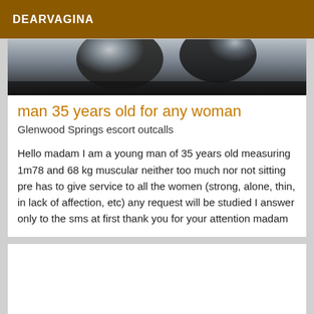DEARVAGINA
[Figure (photo): Partial photo showing two people, dark and blurry, used as a listing image header]
man 35 years old for any woman
Glenwood Springs escort outcalls
Hello madam I am a young man of 35 years old measuring 1m78 and 68 kg muscular neither too much nor not sitting pre has to give service to all the women (strong, alone, thin, in lack of affection, etc) any request will be studied I answer only to the sms at first thank you for your attention madam